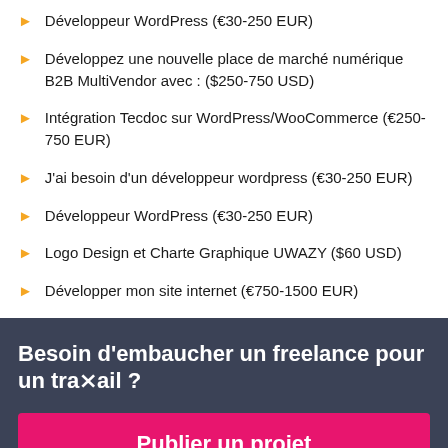Développeur WordPress (€30-250 EUR)
Développez une nouvelle place de marché numérique B2B MultiVendor avec : ($250-750 USD)
Intégration Tecdoc sur WordPress/WooCommerce (€250-750 EUR)
J'ai besoin d'un développeur wordpress (€30-250 EUR)
Développeur WordPress (€30-250 EUR)
Logo Design et Charte Graphique UWAZY ($60 USD)
Développer mon site internet (€750-1500 EUR)
Besoin d'embaucher un freelance pour un travail ?
Publier un projet